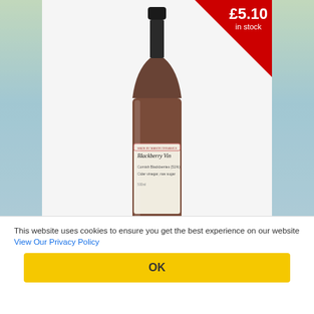[Figure (photo): A bottle of Blackberry Vinegar product with a dark liquid, black cap, and a label reading 'Blackberry Vin...' with ingredients listed. The bottle is centered against a light background with coastal/landscape sidebars in green and blue tones.]
£5.10 in stock
This website uses cookies to ensure you get the best experience on our website View Our Privacy Policy
OK